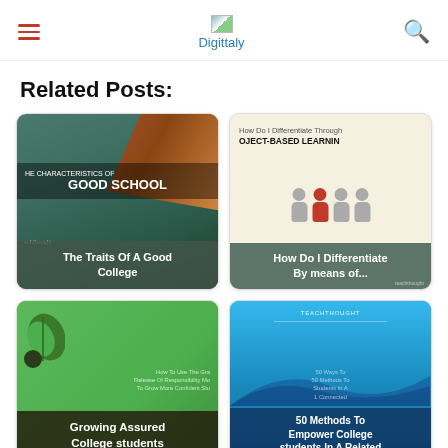Digittaly
Related Posts:
[Figure (photo): Card: The Traits Of A Good College — classroom/chalkboard image with text overlay]
[Figure (photo): Card: How Do I Differentiate By means of... — infographic with figures]
[Figure (photo): Card: Growing Assured College students Utilizing Gradual... — green background with leaf]
[Figure (photo): Card: 50 Methods To Empower College students In A Related World — blue background with TEACHTHOUGHT label]